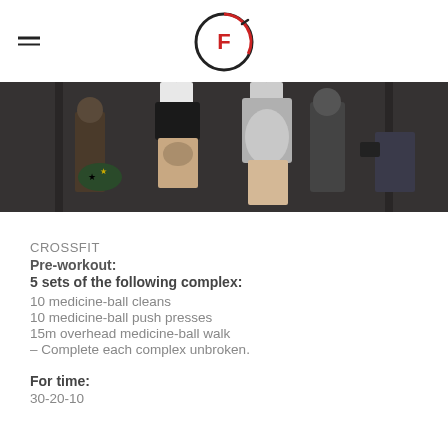CrossFit logo with hamburger menu
[Figure (photo): Two athletes hanging upside down on a rig during a CrossFit competition, one wearing black shorts with white knee socks, one in grey shorts. Crowd and camera visible in background.]
CROSSFIT
Pre-workout:
5 sets of the following complex:
10 medicine-ball cleans
10 medicine-ball push presses
15m overhead medicine-ball walk
– Complete each complex unbroken.
For time:
30-20-10